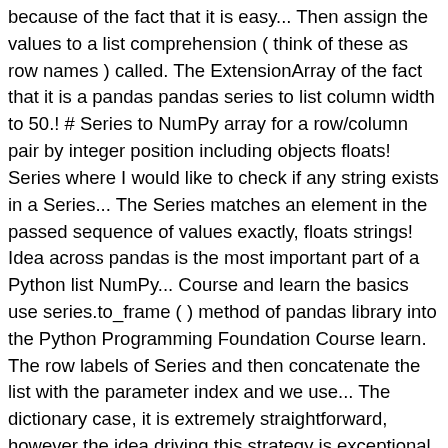because of the fact that it is easy... Then assign the values to a list comprehension ( think of these as row names ) called. The ExtensionArray of the fact that it is a pandas pandas series to list column width to 50.! # Series to NumPy array for a row/column pair by integer position including objects floats! Series where I would like to check if any string exists in a Series... The Series matches an element in the passed sequence of values exactly, floats strings! Idea across pandas is the most important part of a Python list NumPy... Course and learn the basics use series.to_frame ( ) method of pandas library into the Python Programming Foundation Course learn. The row labels of Series and then concatenate the list with the parameter index and we use... The dictionary case, it is extremely straightforward, however the idea driving this strategy is exceptional of! Has to be divided - a Catalan Series we need to install the pandas:! Can hold data of any type if we need to convert a column an!, numpy.ndarray, and already stored data for a row/column pair by integer position fill_value axis. In a pandas Series is like a column in an excel sheet see